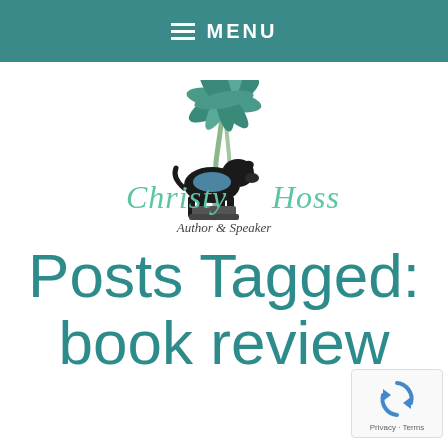MENU
[Figure (logo): Christy Hoss Author & Speaker logo with a black dog under a palm tree, teal and script lettering]
Posts Tagged: book review